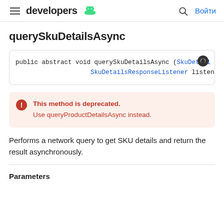developers  [Android logo]   [search icon]  Войти
querySkuDetailsAsync
[Figure (screenshot): Code block showing: public abstract void querySkuDetailsAsync (SkuDetail SkuDetailsResponseListener listener)]
This method is deprecated.
Use queryProductDetailsAsync instead.
Performs a network query to get SKU details and return the result asynchronously.
Parameters